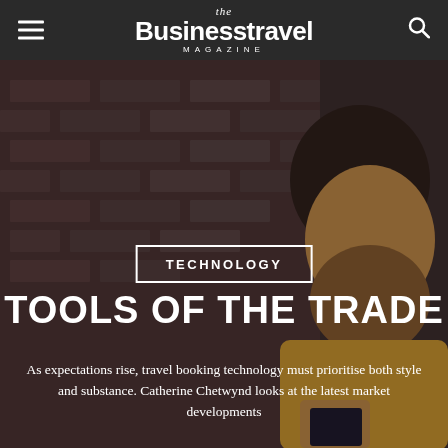the Businesstravel MAGAZINE
[Figure (photo): Man with beard looking down at a mobile device, set against a blurred brick wall background. Dark moody atmosphere.]
TECHNOLOGY
TOOLS OF THE TRADE
As expectations rise, travel booking technology must prioritise both style and substance. Catherine Chetwynd looks at the latest market developments